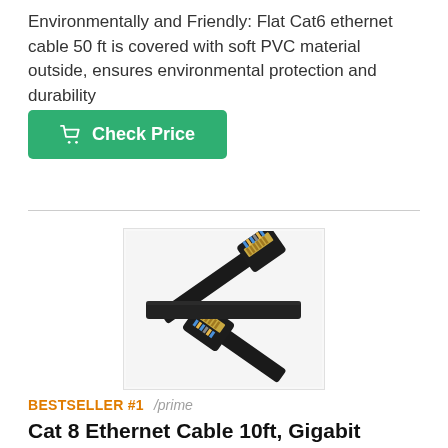Environmentally and Friendly: Flat Cat6 ethernet cable 50 ft is covered with soft PVC material outside, ensures environmental protection and durability
[Figure (other): Green 'Check Price' button with shopping cart icon]
[Figure (photo): Two flat black Ethernet cable connectors with gold-plated RJ45 ends, showing Cat 8 ethernet cable product photo]
BESTSELLER #1  /prime
Cat 8 Ethernet Cable 10ft, Gigabit Ethernet Cable for PS4 PS5, Indoor